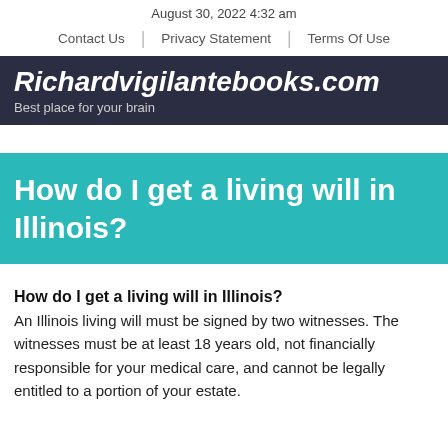August 30, 2022 4:32 am
Contact Us | Privacy Statement | Terms Of Use
Richardvigilantebooks.com
Best place for your brain
How do I get a living will in Illinois?
How do I get a living will in Illinois?
An Illinois living will must be signed by two witnesses. The witnesses must be at least 18 years old, not financially responsible for your medical care, and cannot be legally entitled to a portion of your estate.